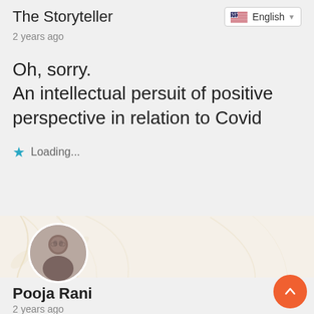The Storyteller
2 years ago
Oh, sorry.
An intellectual persuit of positive perspective in relation to Covid
Loading...
[Figure (photo): Circular avatar photo of a person (Pooja Rani), blurred/muted tones, female figure visible]
Pooja Rani
2 years ago